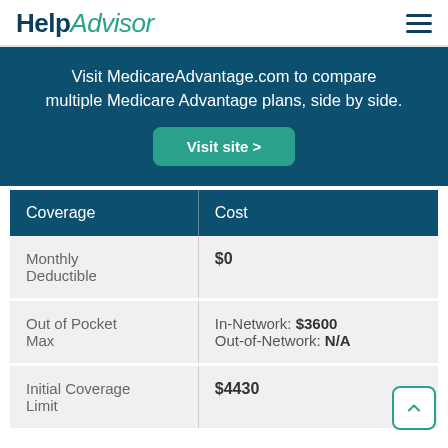HelpAdvisor
Visit MedicareAdvantage.com to compare multiple Medicare Advantage plans, side by side. Visit site >
| Coverage | Cost |
| --- | --- |
| Monthly Deductible | $0 |
| Out of Pocket Max | In-Network: $3600
Out-of-Network: N/A |
| Initial Coverage Limit | $4430 |